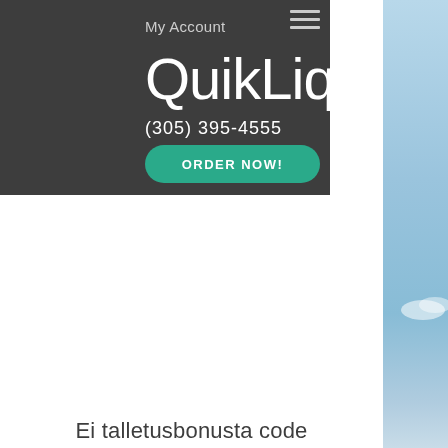My Account
QuikLiq
(305) 395-4555
ORDER NOW!
[Figure (photo): Light blue sky photo strip on the right side of the page]
Ei talletusbonusta code